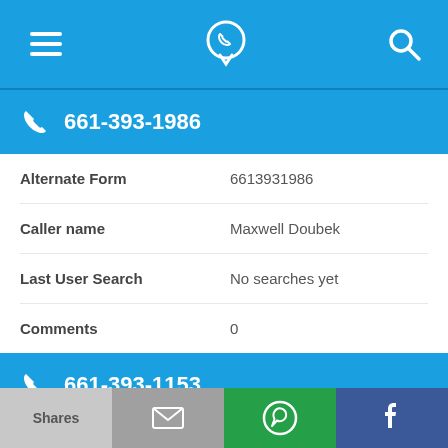Navigation bar with menu, phone/location icon, search icon
661-393-1986
| Field | Value |
| --- | --- |
| Alternate Form | 6613931986 |
| Caller name | Maxwell Doubek |
| Last User Search | No searches yet |
| Comments | 0 |
661-393-1153
Shares | Email | WhatsApp | Facebook